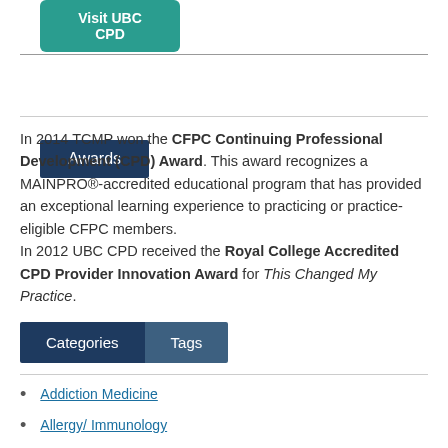[Figure (other): Teal rounded button labeled 'Visit UBC CPD']
Awards
In 2014 TCMP won the CFPC Continuing Professional Development (CPD) Award. This award recognizes a MAINPRO®-accredited educational program that has provided an exceptional learning experience to practicing or practice-eligible CFPC members.
In 2012 UBC CPD received the Royal College Accredited CPD Provider Innovation Award for This Changed My Practice.
Categories | Tags
Addiction Medicine
Allergy/ Immunology